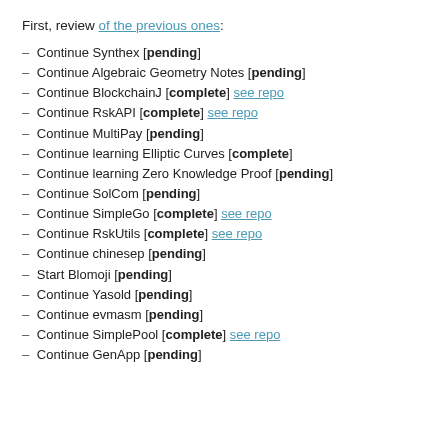First, review of the previous ones:
Continue Synthex [pending]
Continue Algebraic Geometry Notes [pending]
Continue BlockchainJ [complete] see repo
Continue RskAPI [complete] see repo
Continue MultiPay [pending]
Continue learning Elliptic Curves [complete]
Continue learning Zero Knowledge Proof [pending]
Continue SolCom [pending]
Continue SimpleGo [complete] see repo
Continue RskUtils [complete] see repo
Continue chinesep [pending]
Start Blomoji [pending]
Continue Yasold [pending]
Continue evmasm [pending]
Continue SimplePool [complete] see repo
Continue GenApp [pending]